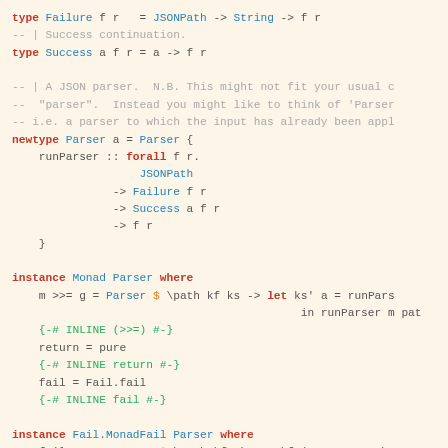type Failure f r   = JSONPath -> String -> f r
-- | Success continuation.
type Success a f r = a -> f r

-- | A JSON parser.  N.B. This might not fit your usual c
--  "parser".  Instead you might like to think of 'Parser
-- i.e. a parser to which the input has already been appl
newtype Parser a = Parser {
    runParser :: forall f r.
                   JSONPath
               -> Failure f r
               -> Success a f r
               -> f r
    }

instance Monad Parser where
    m >>= g = Parser $ \path kf ks -> let ks' a = runPars
                                           in runParser m pat
    {-# INLINE (>>=) #-}
    return = pure
    {-# INLINE return #-}
    fail = Fail.fail
    {-# INLINE fail #-}

instance Fail.MonadFail Parser where
    fail msg = Parser $ \path kf _ks -> kf (reverse path
    {-# INLINE fail #-}

instance Functor Parser where
    fmap f m = Parser $ \path kf ks -> let ks' a = ks (f